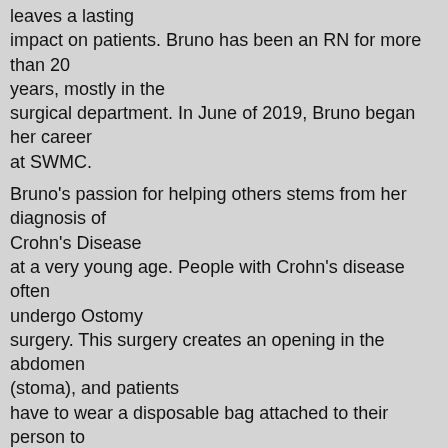leaves a lasting impact on patients. Bruno has been an RN for more than 20 years, mostly in the surgical department. In June of 2019, Bruno began her career at SWMC.
Bruno's passion for helping others stems from her diagnosis of Crohn's Disease at a very young age. People with Crohn's disease often undergo Ostomy surgery. This surgery creates an opening in the abdomen (stoma), and patients have to wear a disposable bag attached to their person to collect bodily waste. She says that she knew she wanted a career that could help others with Inflammatory Bowel Diseases. “Helping others fuels my fire. It gives me a purpose for why God gave me this disease. My purpose is to help others.”
When not working at SWMC, Bruno is continuously networking with Ostomy support groups and Crohn’s disease websites. Bruno came in contact with Kelly Moss, a woman in Australia with a similar inflammatory bowel disease diagnosis as her. Moss created Ostomy Support Bears WA. This organization creates support bears for Ostomy patients.